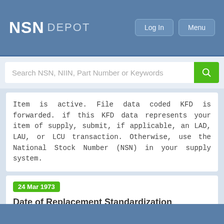NSN DEPOT | Log In | Menu
Item is active. File data coded KFD is forwarded. if this KFD data represents your item of supply, submit, if applicable, an LAD, LAU, or LCU transaction. Otherwise, use the National Stock Number (NSN) in your supply system.
24 Mar 1973
Date of Replacement Standardization Decision (DT_STDZN_DEC_2300)
5905-00-192-3426